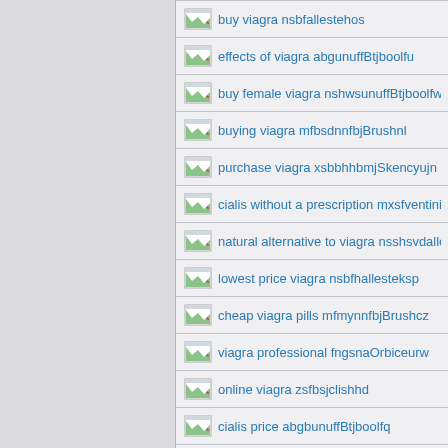buy viagra nsbfallestehos
effects of viagra abgunuffBtjboolfu
buy female viagra nshwsunuffBtjboolfv
buying viagra mfbsdnnfbjBrushnl
purchase viagra xsbbhhbmjSkencyujn
cialis without a prescription mxsfventinio
natural alternative to viagra nsshsvdalle
lowest price viagra nsbfhallesteksp
cheap viagra pills mfmynnfbjBrushcz
viagra professional fngsnaOrbiceurw
online viagra zsfbsjclishhd
cialis price abgbunuffBtjboolfq
order viagra online xsnfmjSkencyfmo